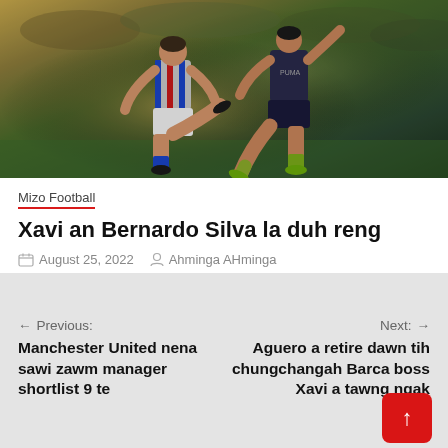[Figure (photo): Two soccer players in a tackle/challenge during a night match, one wearing Barcelona-style red/blue striped kit, the other in dark kit with green shoes]
Mizo Football
Xavi an Bernardo Silva la duh reng
August 25, 2022   Ahminga AHminga
← Previous: Manchester United nena sawi zawm manager shortlist 9 te
Next: → Aguero a retire dawn tih chungchangah Barca boss Xavi a tawng ngak